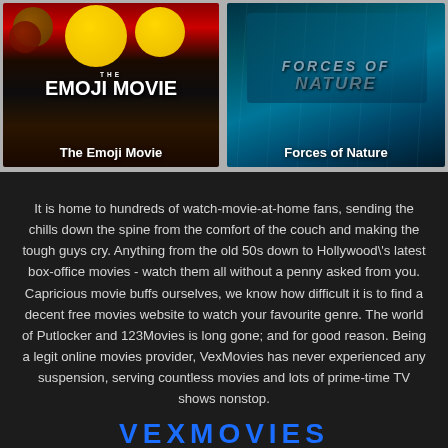[Figure (photo): Movie poster for The Emoji Movie showing animated emoji characters with red and dark background]
The Emoji Movie
[Figure (photo): Movie poster for Forces of Nature showing people in rain with teal/dark background]
Forces of Nature
It is home to hundreds of watch-movie-at-home fans, sending the chills down the spine from the comfort of the couch and making the tough guys cry. Anything from the old 50s down to Hollywood\'s latest box-office movies - watch them all without a penny asked from you. Capricious movie buffs ourselves, we know how difficult it is to find a decent free movies website to watch your favourite genre. The world of Putlocker and 123Movies is long gone; and for good reason. Being a legit online movies provider, VexMovies has never experienced any suspension, serving countless movies and lots of prime-time TV shows nonstop.